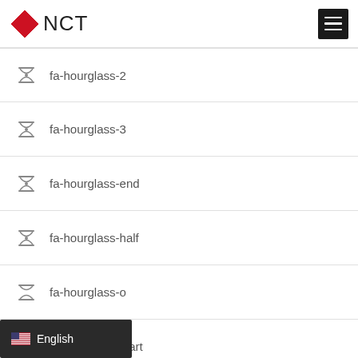NCT
fa-hourglass-2
fa-hourglass-3
fa-hourglass-end
fa-hourglass-half
fa-hourglass-o
fa-hourglass-start
English